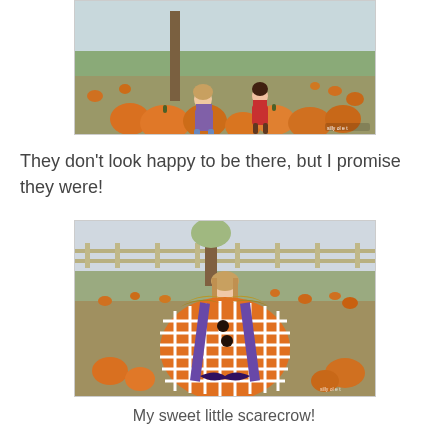[Figure (photo): Two children (a girl in purple shirt and a boy in red shirt) sitting on large pumpkins in a pumpkin patch]
They don't look happy to be there, but I promise they were!
[Figure (photo): A young girl posing behind a scarecrow cutout board in a pumpkin patch field with fence in background]
My sweet little scarecrow!